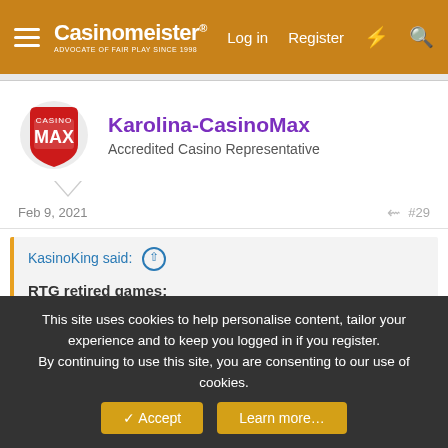Casinomeister® — Log in | Register
[Figure (logo): CasinoMax casino logo — red shield with 'MAX' text, casino chip design]
Karolina-CasinoMax
Accredited Casino Representative
Feb 9, 2021
#29
KasinoKing said: ↑
RTG retired games:
Aladdin's Wishes,
Builder Beaver,
Count Spectacular
Crystal Waters
Double Ya Luck!
Ghost Ship
This site uses cookies to help personalise content, tailor your experience and to keep you logged in if you register.
By continuing to use this site, you are consenting to our use of cookies.